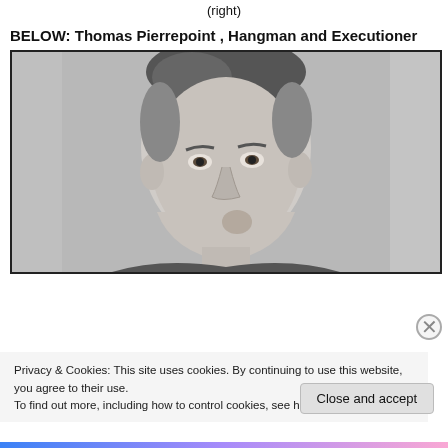ABOVE: Thomas Pierrepoint (left) and his nephew, Albert (right)
BELOW: Thomas Pierrepoint , Hangman and Executioner
[Figure (photo): Black and white portrait photograph of Thomas Pierrepoint, an older man with short grey hair, looking directly at the camera.]
Privacy & Cookies: This site uses cookies. By continuing to use this website, you agree to their use.
To find out more, including how to control cookies, see here: Cookie Policy
Close and accept